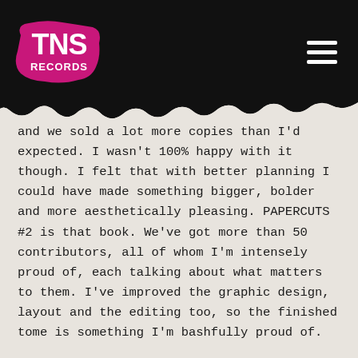[Figure (logo): TNS Records logo — white text on pink/magenta brush-stroke blob, on black header bar]
and we sold a lot more copies than I'd expected. I wasn't 100% happy with it though. I felt that with better planning I could have made something bigger, bolder and more aesthetically pleasing. PAPERCUTS #2 is that book. We've got more than 50 contributors, all of whom I'm intensely proud of, each talking about what matters to them. I've improved the graphic design, layout and the editing too, so the finished tome is something I'm bashfully proud of.